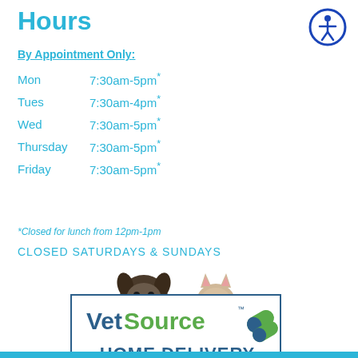Hours
By Appointment Only:
| Day | Hours |
| --- | --- |
| Mon | 7:30am-5pm* |
| Tues | 7:30am-4pm* |
| Wed | 7:30am-5pm* |
| Thursday | 7:30am-5pm* |
| Friday | 7:30am-5pm* |
*Closed for lunch from 12pm-1pm
CLOSED SATURDAYS & SUNDAYS
[Figure (illustration): VetSource advertisement showing a dog and cat above a box with VetSource logo, HOME DELIVERY of medications and pet nutrition, and a CLICK HERE button]